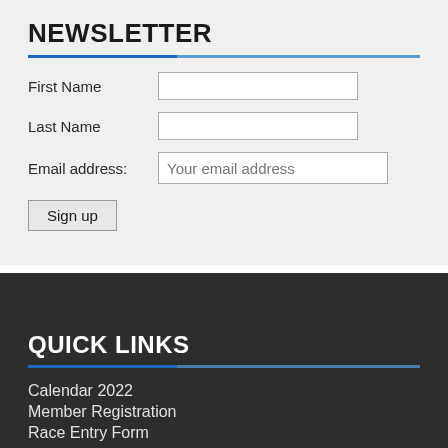NEWSLETTER
First Name
Last Name
Email address: Your email address
Sign up
QUICK LINKS
Calendar 2022
Member Registration
Race Entry Form